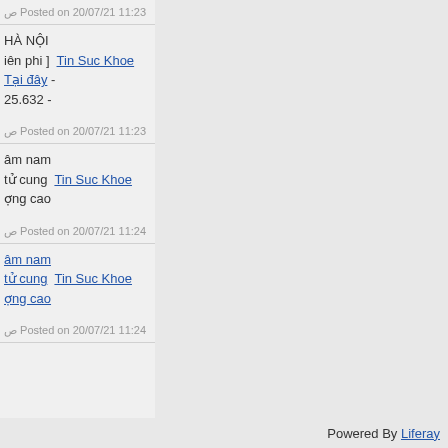ص Posted on 20/07/21 11:23
HÀ NỘI
iên phi ] Tin Suc Khoe
Tại đây -
25.632 -
ص Posted on 20/07/21 11:23
âm nam
tử cung Tin Suc Khoe
ợng cao
ص Posted on 20/07/21 11:24
âm nam
tử cung Tin Suc Khoe
ợng cao
ص Posted on 20/07/21 11:24
Powered By Liferay